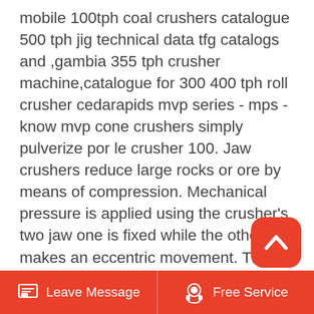mobile 100tph coal crushers catalogue 500 tph jig technical data tfg catalogs and ,gambia 355 tph crusher machine,catalogue for 300 400 tph roll crusher cedarapids mvp series - mps - know mvp cone crushers simply pulverize por le crusher 100. Jaw crushers reduce large rocks or ore by means of compression. Mechanical pressure is applied using the crusher's two jaw one is fixed while the other makes an eccentric movement. There are primary and secondary types of these crushers. crushers are one of the most commonly preferred crushers due to their ability to crush all kinds. Jaw Crusher is one of popular stone crushing machines used in mining industry and it is ly suitable for both primary and secondary crushing. PE series single toggle Jaw Crusher has the features of crushing ratio
[Figure (other): Red rounded square button with white upward-pointing chevron arrow (back-to-top button)]
Leave Message   Free Service